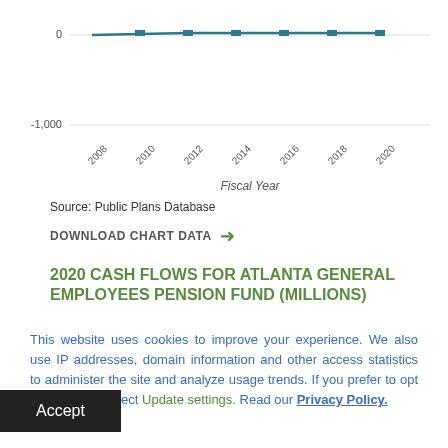[Figure (line-chart): Line chart showing values near 0 and -1000 axis visible, series appears as near-zero line from 2008 to 2020]
Source: Public Plans Database
DOWNLOAD CHART DATA →
2020 CASH FLOWS FOR ATLANTA GENERAL EMPLOYEES PENSION FUND (MILLIONS)
|  |  |
| --- | --- |
| Inflows | 126.1 |
| Outflows | 182.2 |
| Investment Gains (losses) | 52.8 |
This website uses cookies to improve your experience. We also use IP addresses, domain information and other access statistics to administer the site and analyze usage trends. If you prefer to opt out, you can select Update settings. Read our Privacy Policy.